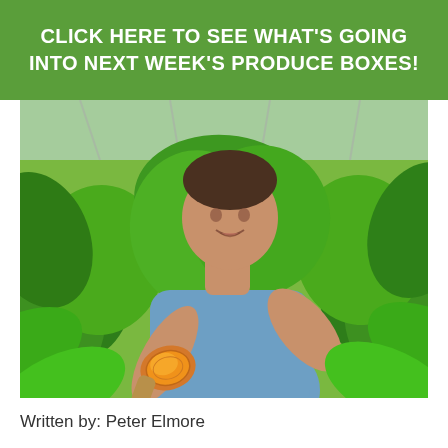CLICK HERE TO SEE WHAT'S GOING INTO NEXT WEEK'S PRODUCE BOXES!
[Figure (photo): A man in a blue t-shirt standing in a greenhouse surrounded by large green leafy plants, holding up a cut turmeric or sweet potato root showing its bright orange interior.]
Written by: Peter Elmore